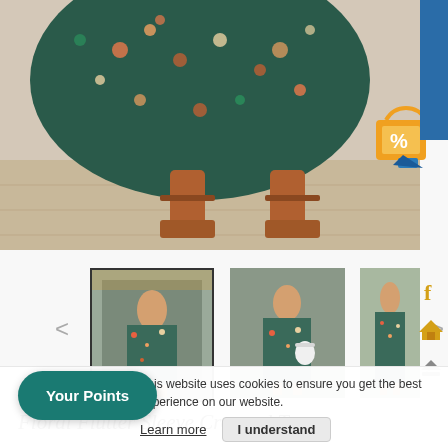[Figure (photo): Close-up photo of a woman wearing a floral maxi dress and tan sandals on a light wood floor]
[Figure (photo): Thumbnail 1: Full-body photo of woman in floral dress, selected/active state with border]
[Figure (photo): Thumbnail 2: Full-body photo of woman in floral dress holding white bag]
[Figure (photo): Thumbnail 3: Full-body photo of woman in floral dress outdoors]
Floral Flutter Sleeve Cropped Top
This website uses cookies to ensure you get the best experience on our website.
Learn more   I understand
Your Points